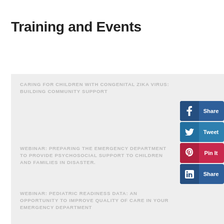Training and Events
CARING FOR CHILDREN WITH CONGENITAL ZIKA VIRUS: BUILDING COMMUNITY SUPPORT
WEBINAR: PREPARING THE EMERGENCY DEPARTMENT TO PROVIDE PSYCHOSOCIAL SUPPORT TO CHILDREN AND FAMILIES IN DISASTER.
WEBINAR: PEDIATRIC READINESS DATA: AN OPPORTUNITY TO IMPROVE QUALITY OF CARE IN YOUR EMERGENCY DEPARTMENT